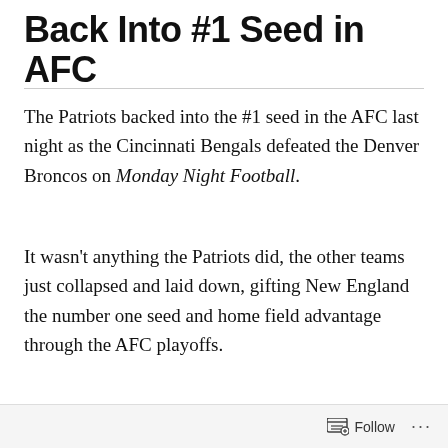Back Into #1 Seed in AFC
The Patriots backed into the #1 seed in the AFC last night as the Cincinnati Bengals defeated the Denver Broncos on Monday Night Football.
It wasn't anything the Patriots did, the other teams just collapsed and laid down, gifting New England the number one seed and home field advantage through the AFC playoffs.
OK. OK. Some people don't like it when I play the
Follow